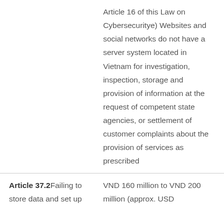Article 16 of this Law on Cybersecuritye) Websites and social networks do not have a server system located in Vietnam for investigation, inspection, storage and provision of information at the request of competent state agencies, or settlement of customer complaints about the provision of services as prescribed
Article 37.2 Failing to store data and set up
VND 160 million to VND 200 million (approx. USD